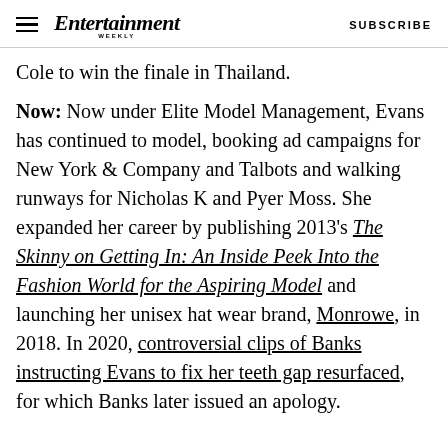Entertainment Weekly — SUBSCRIBE
Cole to win the finale in Thailand.
Now: Now under Elite Model Management, Evans has continued to model, booking ad campaigns for New York & Company and Talbots and walking runways for Nicholas K and Pyer Moss. She expanded her career by publishing 2013's The Skinny on Getting In: An Inside Peek Into the Fashion World for the Aspiring Model and launching her unisex hat wear brand, Monrowe, in 2018. In 2020, controversial clips of Banks instructing Evans to fix her teeth gap resurfaced, for which Banks later issued an apology.